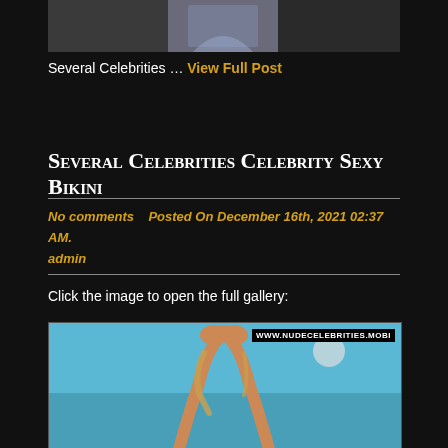[Figure (photo): Top cropped photo showing a person from the waist area, wearing jeans/denim, dark background]
Several Celebrities … View Full Post
Several Celebrities Celebrity Sexy Bikini
No comments   Posted On December 16th, 2021 02:37 AM.  admin
Click the image to open the full gallery:
[Figure (photo): Photo of a person with arms raised above head, hair flying, against a teal/blue background, with watermark WWW.NUDECELEBRITIES.MOBI]